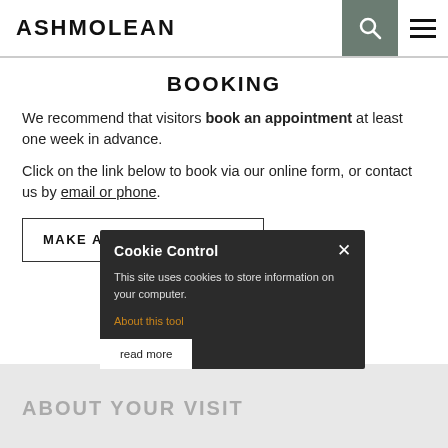ASHMOLEAN
BOOKING
We recommend that visitors book an appointment at least one week in advance.
Click on the link below to book via our online form, or contact us by email or phone.
MAKE A BOOKING ›
Cookie Control
This site uses cookies to store information on your computer.
About this tool
read more
ABOUT YOUR VISIT